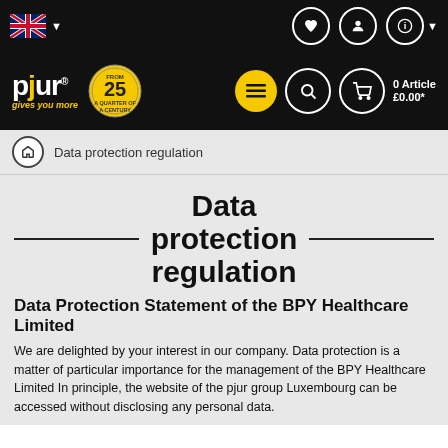[Figure (screenshot): Top navigation bar with UK flag, language selector, and icons for wishlist, account, and info on black background]
[Figure (logo): pjur logo with 'gives you more' tagline and 25th anniversary badge, menu, search, cart icons, 0 Article £0.00*]
Data protection regulation
Data protection regulation
Data Protection Statement of the BPY Healthcare Limited
We are delighted by your interest in our company. Data protection is a matter of particular importance for the management of the BPY Healthcare Limited In principle, the website of the pjur group Luxembourg can be accessed without disclosing any personal data.